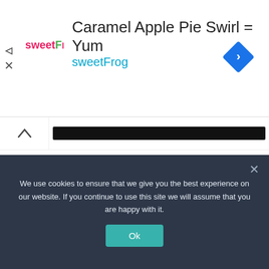[Figure (screenshot): SweetFrog advertisement banner with logo, title 'Caramel Apple Pie Swirl = Yum', subtitle 'sweetFrog', and a blue diamond navigation icon on the right]
[Figure (screenshot): Dark navigation bar with a chevron/up-arrow on the left and a dark bar]
'Nothing is impossible': Monday's inspiration is this
FOOD EXPRESS
APR 11, 2022  ADMIN
We use cookies to ensure that we give you the best experience on our website. If you continue to use this site we will assume that you are happy with it.